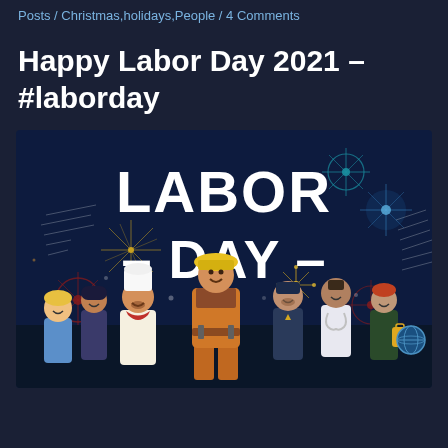Posts / Christmas, holidays, People / 4 Comments
Happy Labor Day 2021 – #laborday
[Figure (illustration): Labor Day 2021 illustrated graphic showing the text 'LABOR – DAY –' in large white bold letters on a dark navy background with colorful fireworks, surrounded by cartoon-style workers including a construction worker in yellow hard hat and orange overalls, a chef, a doctor, a police officer, and other professionals.]